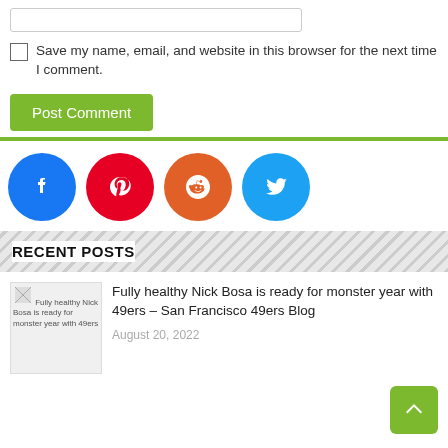Save my name, email, and website in this browser for the next time I comment.
Post Comment
[Figure (infographic): Social sharing buttons: Facebook (blue circle), Pinterest (red circle), Reddit (orange circle), Twitter (light blue circle)]
RECENT POSTS
Fully healthy Nick Bosa is ready for monster year with 49ers – San Francisco 49ers Blog
August 20, 2022